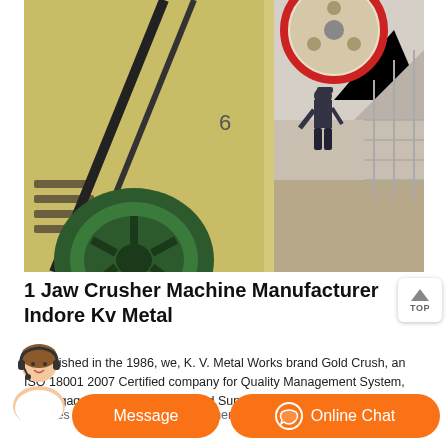[Figure (photo): Industrial jaw crusher machine at an outdoor quarry site. A large yellow jaw crusher is shown with a heavy green flywheel in the foreground, a large red-rimmed pulley wheel at top, and a worker in dark clothing operating near the machine. Rocky mountain terrain visible in background. Machine has a blue star emblem and phone number (0371-66) on its body.]
1 Jaw Crusher Machine Manufacturer Indore Kv Metal
Established in the 1986, we, K. V. Metal Works brand Gold Crush, an ISO 18001 2007 Certified company for Quality Management System, are engaged in Manufacturing and Supplying superior quality Industrial Crusher and Vibrating Screen.Our product range includes Single Toggle Stone Crusher, Single Toggle Jaw Crusher...